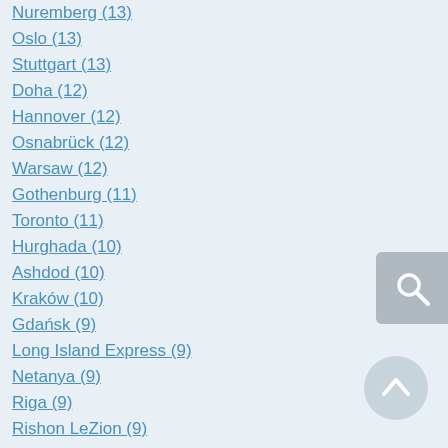Nuremberg (13)
Oslo (13)
Stuttgart (13)
Doha (12)
Hannover (12)
Osnabrück (12)
Warsaw (12)
Gothenburg (11)
Toronto (11)
Hurghada (10)
Ashdod (10)
Kraków (10)
Gdańsk (9)
Long Island Express (9)
Netanya (9)
Riga (9)
Rishon LeZion (9)